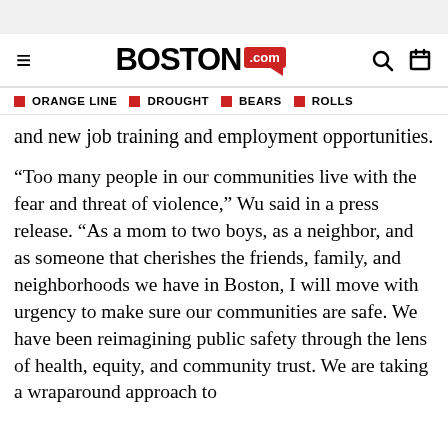Boston.com navigation header
ORANGE LINE | DROUGHT | BEARS | ROLLS
and new job training and employment opportunities.
“Too many people in our communities live with the fear and threat of violence,” Wu said in a press release. “As a mom to two boys, as a neighbor, and as someone that cherishes the friends, family, and neighborhoods we have in Boston, I will move with urgency to make sure our communities are safe. We have been reimagining public safety through the lens of health, equity, and community trust. We are taking a wraparound approach to